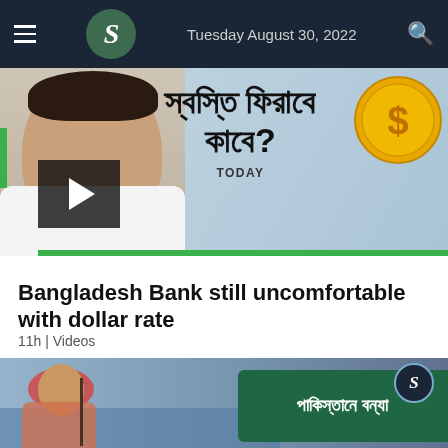Tuesday August 30, 2022
[Figure (photo): Video thumbnail showing a man's face with Bengali text reading about dollar rate stability, with a dollar coin graphic and TODAY label, and a play button overlay]
Bangladesh Bank still uncomfortable with dollar rate
11h | Videos
[Figure (photo): Thumbnail showing a woman standing in flood water with a green road sign showing Bengali text about Pakistan floods, and a B logo circle]